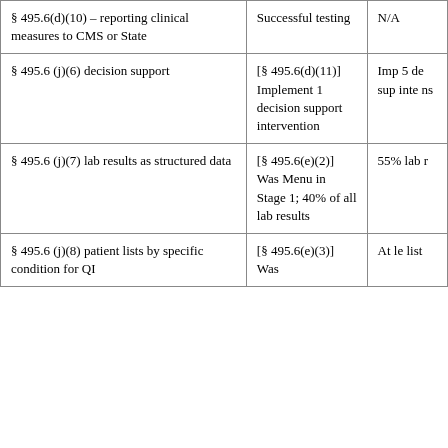| § 495.6(d)(10) – reporting clinical measures to CMS or State | Successful testing | N/A |
| § 495.6 (j)(6) decision support | [§ 495.6(d)(11)] Implement 1 decision support intervention | Imp 5 de sup inte ns |
| § 495.6 (j)(7) lab results as structured data | [§ 495.6(e)(2)] Was Menu in Stage 1; 40% of all lab results | 55% lab r |
| § 495.6 (j)(8) patient lists by specific condition for QI | [§ 495.6(e)(3)] Was | At le list |